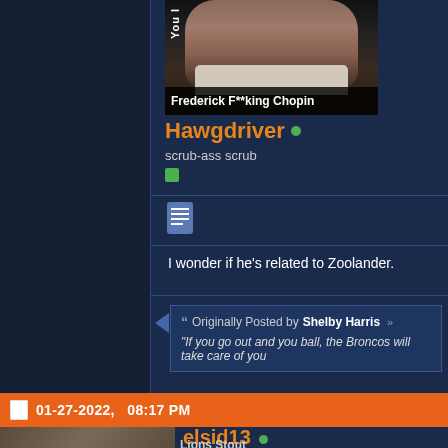[Figure (photo): A photo/meme image with a person and text 'Frederick F**king Chopin' at the bottom, with 'You' text visible on left side]
Hawgdriver
scrub-ass scrub
I wonder if he's related to Zoolander.
Originally Posted by Shelby Harris
"If you go out and you ball, the Broncos will take care of you
01-27-2022,   08:17 PM
elsid13
Lions Stout